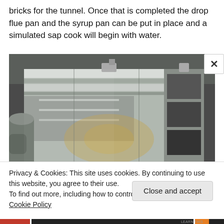bricks for the tunnel. Once that is completed the drop flue pan and the syrup pan can be put in place and a simulated sap cook will begin with water.
[Figure (photo): A shiny stainless steel maple syrup evaporator pan/equipment inside a sugar shack, showing reflective metallic surfaces and various compartments.]
Privacy & Cookies: This site uses cookies. By continuing to use this website, you agree to their use.
To find out more, including how to control cookies, see here: Cookie Policy
Close and accept